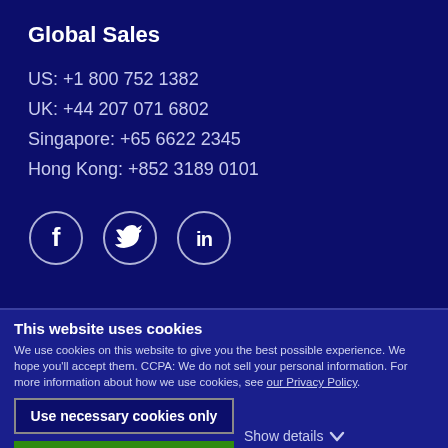Global Sales
US: +1 800 752 1382
UK: +44 207 071 6802
Singapore: +65 6622 2345
Hong Kong: +852 3189 0101
[Figure (infographic): Social media icons: Facebook, Twitter, LinkedIn in circular outlines]
This website uses cookies
We use cookies on this website to give you the best possible experience. We hope you'll accept them. CCPA: We do not sell your personal information. For more information about how we use cookies, see our Privacy Policy.
Use necessary cookies only
Allow all cookies
Show details